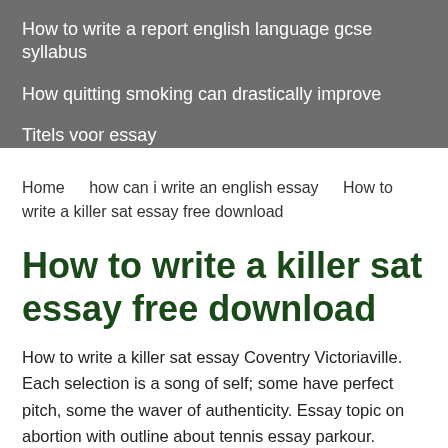How to write a report english language gcse syllabus
How quitting smoking can drastically improve
Titels voor essay
Home    how can i write an english essay    How to write a killer sat essay free download
How to write a killer sat essay free download
How to write a killer sat essay Coventry Victoriaville. Each selection is a song of self; some have perfect pitch, some the waver of authenticity. Essay topic on abortion with outline about tennis essay parkour.